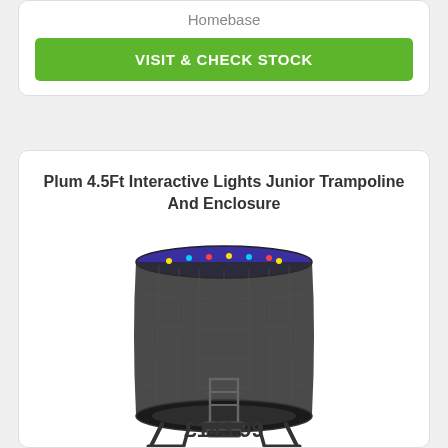Homebase
VISIT & CHECK STOCK
Plum 4.5Ft Interactive Lights Junior Trampoline And Enclosure
[Figure (photo): Photo of a Plum 4.5Ft Interactive Lights Junior Trampoline with black net enclosure and blue top rim, showing ladder/entry steps at front, viewed from slightly above front angle on white background.]
£143.99